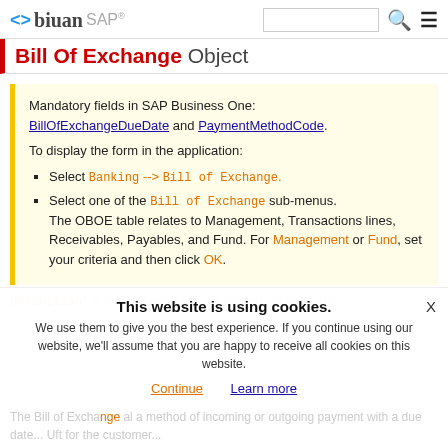biuan SAP
Bill Of Exchange Object
Mandatory fields in SAP Business One: BillOfExchangeDueDate and PaymentMethodCode.

To display the form in the application:
- Select Banking --> Bill of Exchange.
- Select one of the Bill of Exchange sub-menus. The OBOE table relates to Management, Transactions lines, Receivables, Payables, and Fund. For Management or Fund, set your criteria and then click OK.
Definition: A Bill of Exchange is a signed, written order prepared by ... another party
This website is using cookies. We use them to give you the best experience. If you continue using our website, we'll assume that you are happy to receive all cookies on this website.
The Bill of Exchange ... a method of incoming or outgoing payment with a due date...Uft for the customer...